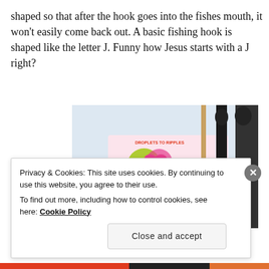shaped so that after the hook goes into the fishes mouth, it won't easily come back out. A basic fishing hook is shaped like the letter J.  Funny how Jesus starts with a J right?
[Figure (photo): A photo showing fishing rods/sticks with a colorful logo reading 'droplets to ripples' and website www.dropletstoripples.com]
Privacy & Cookies: This site uses cookies. By continuing to use this website, you agree to their use.
To find out more, including how to control cookies, see here: Cookie Policy
Close and accept